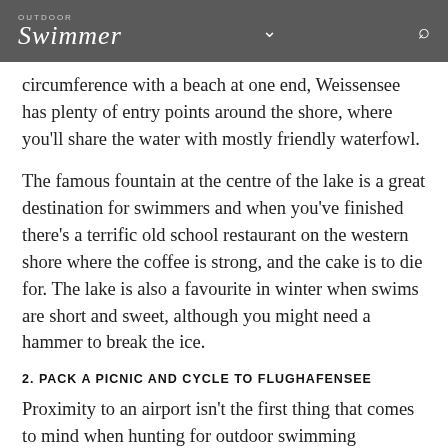OUTDOOR Swimmer
circumference with a beach at one end, Weissensee has plenty of entry points around the shore, where you'll share the water with mostly friendly waterfowl.
The famous fountain at the centre of the lake is a great destination for swimmers and when you've finished there's a terrific old school restaurant on the western shore where the coffee is strong, and the cake is to die for. The lake is also a favourite in winter when swims are short and sweet, although you might need a hammer to break the ice.
2. PACK A PICNIC AND CYCLE TO FLUGHAFENSEE
Proximity to an airport isn't the first thing that comes to mind when hunting for outdoor swimming destinations. But given Berlin's cheek-by-jowl approach to urban life and nature, it works. Flughafensee is deceptively small